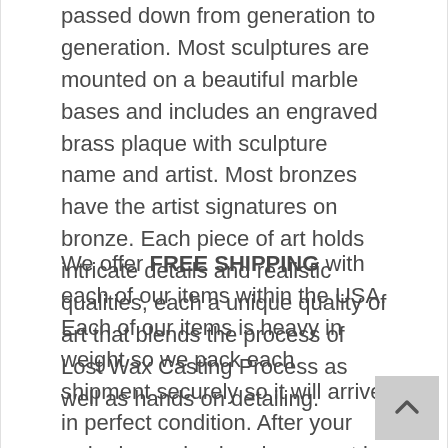passed down from generation to generation. Most sculptures are mounted on a beautiful marble bases and includes an engraved brass plaque with sculpture name and artist. Most bronzes have the artist signatures on bronze. Each piece of art holds intricate details and realistic qualities, each a unique quality of art that blends the process of Lost Wax Casting Process as well as hands on detailing.
We offer FREE SHIPPING with each of our items within the USA. Each of our items is heavy in weight so we pack each shipment securely so it will arrive in perfect condition. After your order is received and payment is made we start the process of the final detail on each sculpture, meaning the finishing hands on details and assembling the marble base on the bottom. Our items in stock are shipped out within 7 days of your payment by Fed Ex. We